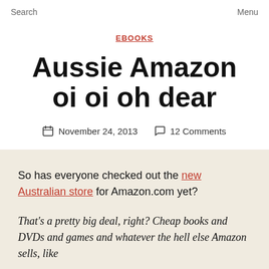Search    Menu
EBOOKS
Aussie Amazon oi oi oh dear
November 24, 2013    12 Comments
So has everyone checked out the new Australian store for Amazon.com yet?
That's a pretty big deal, right? Cheap books and DVDs and games and whatever the hell else Amazon sells, like